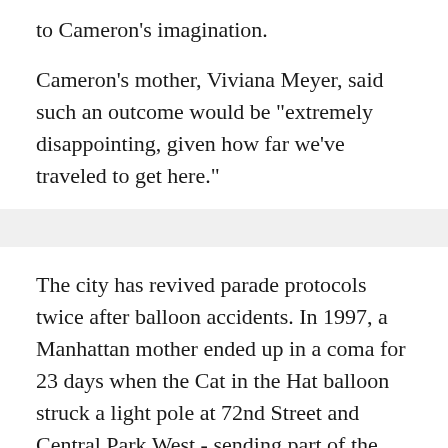to Cameron's imagination.
Cameron's mother, Viviana Meyer, said such an outcome would be "extremely disappointing, given how far we've traveled to get here."
The city has revived parade protocols twice after balloon accidents. In 1997, a Manhattan mother ended up in a coma for 23 days when the Cat in the Hat balloon struck a light pole at 72nd Street and Central Park West - sending part of the lamppost crashing down and injuring four people in all, WCBS 880's Irene Cornell reported.
In 2005, two sisters visiting from Albany were